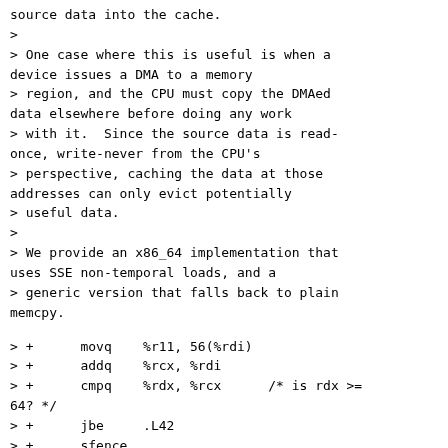source data into the cache.
>
> One case where this is useful is when a device issues a DMA to a memory
> region, and the CPU must copy the DMAed data elsewhere before doing any work
> with it.  Since the source data is read-once, write-never from the CPU's
> perspective, caching the data at those addresses can only evict potentially
> useful data.
>
> We provide an x86_64 implementation that uses SSE non-temporal loads, and a
> generic version that falls back to plain memcpy.
> +      movq    %r11, 56(%rdi)
> +      addq    %rcx, %rdi
> +      cmpq    %rdx, %rcx      /* is rdx >= 64? */
> +      jbe     .L42
> +      sfence
> +      orl     %edx, %edx
> +      je      .L33
I have three questions/remarks
1) Just curious why sfence is necessary here ?